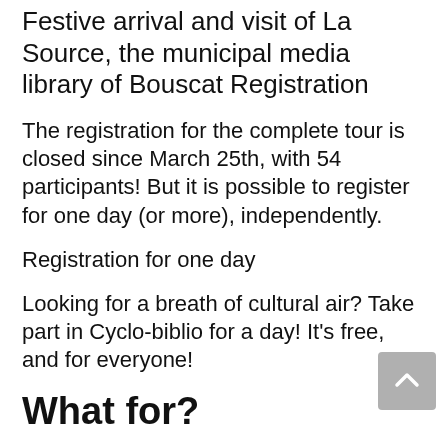Festive arrival and visit of La Source, the municipal media library of Bouscat Registration
The registration for the complete tour is closed since March 25th, with 54 participants! But it is possible to register for one day (or more), independently.
Registration for one day
Looking for a breath of cultural air? Take part in Cyclo-biblio for a day! It’s free, and for everyone!
What for?
Carrying the word of the librarians